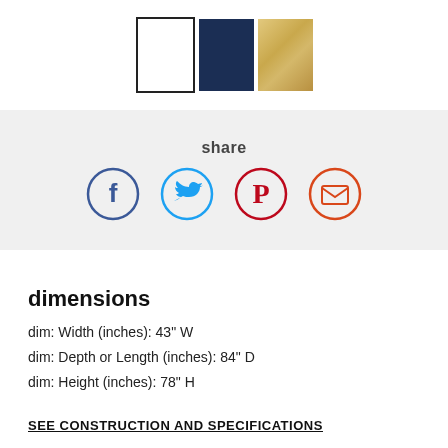[Figure (illustration): Three color swatches: white with black border, navy blue, and natural wood/bamboo]
share
[Figure (infographic): Social share icons: Facebook (blue circle with f), Twitter (light blue circle with bird), Pinterest (red circle with P), Email (orange-red circle with envelope)]
dimensions
dim: Width (inches): 43" W
dim: Depth or Length (inches): 84" D
dim: Height (inches): 78" H
SEE CONSTRUCTION AND SPECIFICATIONS